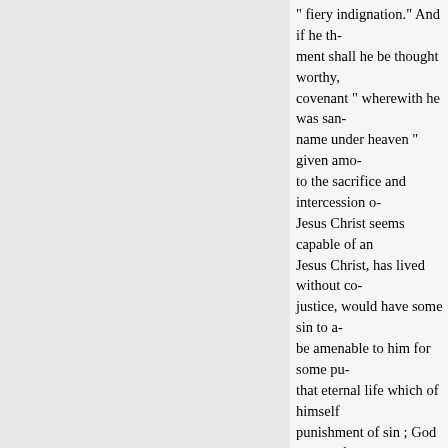" fiery indignation." And if he th- ment shall he be thought worthy, covenant " wherewith he was san- name under heaven " given amo- to the sacrifice and intercession o- Jesus Christ seems capable of an Jesus Christ, has lived without co- justice, would have some sin to a- be amenable to him for some pu- that eternal life which of himself punishment of sin ; God accepted otherwise have been subject, and intercession and mediation, will b- judgment seat of Christ. In this w- chastisement has been laid, by w-
(k) " If we say," &c. that is, if was free from
sin, and that there was no occasi- " all have sin. " ned, and fallen sh- experience to be convinced that t- has not sinned, and stood in need
(l) " If we confess." This is